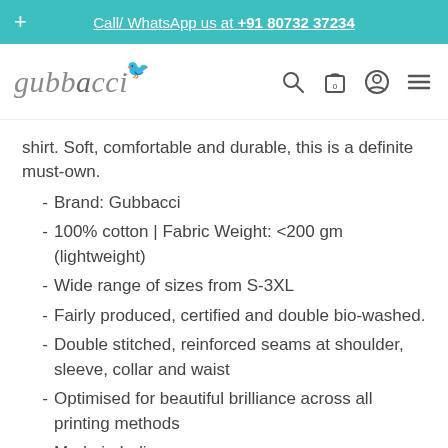Call/ WhatsApp us at +91 80732 37234
[Figure (logo): Gubbacci brand logo with teal bird and italic script text, plus navigation icons (search, cart, account, menu)]
shirt. Soft, comfortable and durable, this is a definite must-own.
Brand: Gubbacci
100% cotton | Fabric Weight: <200 gm (lightweight)
Wide range of sizes from S-3XL
Fairly produced, certified and double bio-washed.
Double stitched, reinforced seams at shoulder, sleeve, collar and waist
Optimised for beautiful brilliance across all printing methods
Made in India